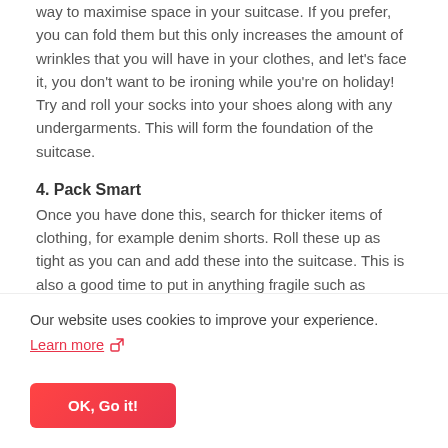way to maximise space in your suitcase. If you prefer, you can fold them but this only increases the amount of wrinkles that you will have in your clothes, and let's face it, you don't want to be ironing while you're on holiday! Try and roll your socks into your shoes along with any undergarments. This will form the foundation of the suitcase.
4. Pack Smart
Once you have done this, search for thicker items of clothing, for example denim shorts. Roll these up as tight as you can and add these into the suitcase. This is also a good time to put in anything fragile such as perfumes or your camera. You can even roll those up
Our website uses cookies to improve your experience.
Learn more ↗
OK, Go it!